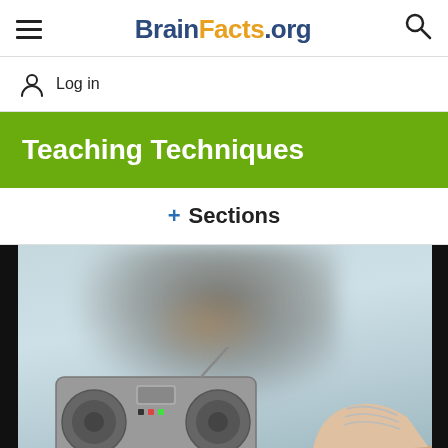BrainFacts.org
Log in
Teaching Techniques
+ Sections
[Figure (photo): A person lying down with a boombox radio in the foreground, wearing sneakers, with a light blue background. The image is partially blurred.]